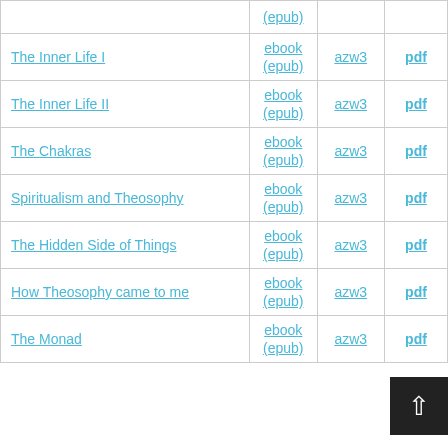| Title | ebook (epub) | azw3 | pdf |
| --- | --- | --- | --- |
|  | (epub) |  |  |
| The Inner Life I | ebook
(epub) | azw3 | pdf |
| The Inner Life II | ebook
(epub) | azw3 | pdf |
| The Chakras | ebook
(epub) | azw3 | pdf |
| Spiritualism and Theosophy | ebook
(epub) | azw3 | pdf |
| The Hidden Side of Things | ebook
(epub) | azw3 | pdf |
| How Theosophy came to me | ebook
(epub) | azw3 | pdf |
| The Monad | ebook
(epub) | azw3 | pdf |